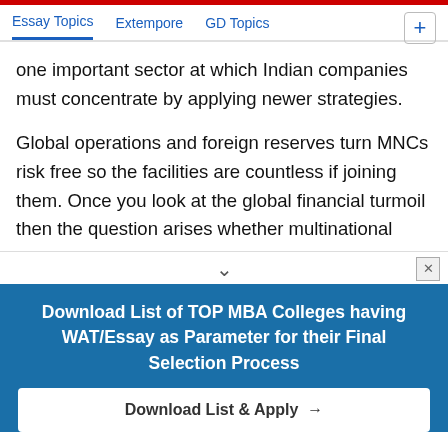Essay Topics  Extempore  GD Topics
one important sector at which Indian companies must concentrate by applying newer strategies.
Global operations and foreign reserves turn MNCs risk free so the facilities are countless if joining them. Once you look at the global financial turmoil then the question arises whether multinational companies would sustain at the similar path of progress in the
Download List of TOP MBA Colleges having WAT/Essay as Parameter for their Final Selection Process
Download List & Apply →